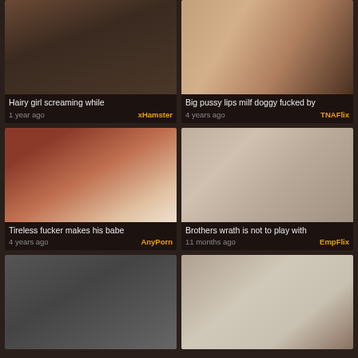[Figure (photo): Video thumbnail - dark close-up adult content]
Hairy girl screaming while
1 year ago   xHamster
[Figure (photo): Video thumbnail - adult content doggy style]
Big pussy lips milf doggy fucked by
4 years ago   TNAFlix
[Figure (photo): Video thumbnail - adult content]
Tireless fucker makes his babe
4 years ago   AnyPorn
[Figure (photo): Video thumbnail - teen in HONEY shirt]
Brothers wrath is not to play with
11 months ago   EmpFlix
[Figure (photo): Video thumbnail - dark haired woman]
[Figure (photo): Video thumbnail - blonde woman painting]